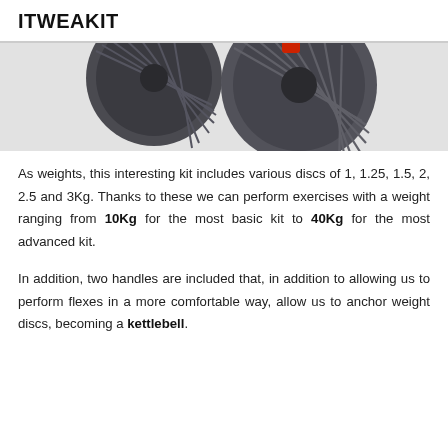ITWEAKIT
[Figure (photo): Close-up photo of adjustable dumbbell weights showing dark grey disc plates with ribbed texture and a red accent, on a light grey background]
As weights, this interesting kit includes various discs of 1, 1.25, 1.5, 2, 2.5 and 3Kg. Thanks to these we can perform exercises with a weight ranging from 10Kg for the most basic kit to 40Kg for the most advanced kit.
In addition, two handles are included that, in addition to allowing us to perform flexes in a more comfortable way, allow us to anchor weight discs, becoming a kettlebell.